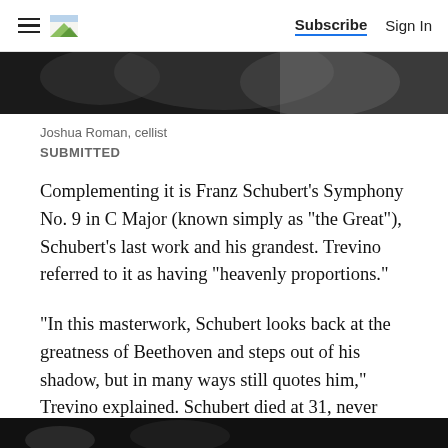Subscribe  Sign In
[Figure (photo): Black and white photo strip at top of page, partially cropped]
Joshua Roman, cellist
SUBMITTED
Complementing it is Franz Schubert's Symphony No. 9 in C Major (known simply as "the Great"), Schubert's last work and his grandest. Trevino referred to it as having "heavenly proportions."
"In this masterwork, Schubert looks back at the greatness of Beethoven and steps out of his shadow, but in many ways still quotes him," Trevino explained. Schubert died at 31, never having heard his symphony played in public.
[Figure (photo): Black and white photo strip at bottom of page, partially cropped]